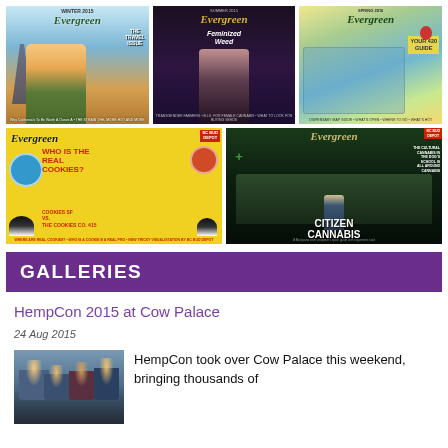[Figure (photo): Grid of 5 Evergreen magazine covers. Top row: Travel Issue (Paris/Eiffel Tower), Feminized Weed Issue (woman in black), Your 420 Guide (colorful map). Bottom row: Who Is The Real Cookies? (yellow cover with cookies branding dispute), Citizen Cannabis (dark cover with politician).]
GALLERIES
HempCon 2015 at Cow Palace
24 Aug 2015
[Figure (photo): Photo of HempCon 2015 event at Cow Palace showing crowd of attendees.]
HempCon took over Cow Palace this weekend, bringing thousands of